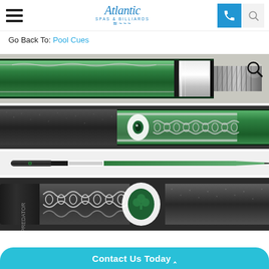Atlantic Spas & Billiards - navigation header with hamburger menu, logo, phone button, and search icon
Go Back To: Pool Cues
[Figure (photo): Close-up of green pool cue butt with silver collar and threaded joint, showing decorative inlays and a magnify icon overlay]
[Figure (photo): Close-up of pool cue grip area showing black textured wrap transitioning to green cue body with white and green decorative inlays featuring shamrock and chain pattern]
[Figure (photo): Full-length view of assembled pool cue showing dark grip end on left and tapered green shaft on right]
[Figure (photo): Close-up of pool cue butt cap end showing brand logo text, woven black and white decorative inlay pattern, green shamrock inlay, and black textured wrap]
Contact Us Today ^